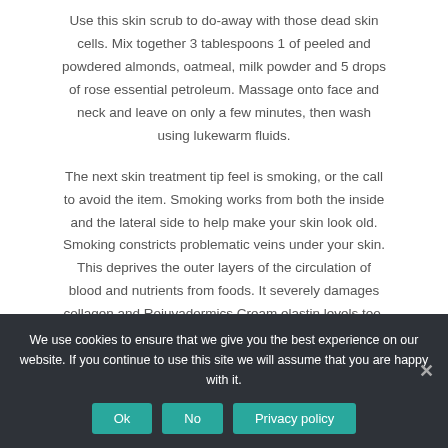Use this skin scrub to do-away with those dead skin cells. Mix together 3 tablespoons 1 of peeled and powdered almonds, oatmeal, milk powder and 5 drops of rose essential petroleum. Massage onto face and neck and leave on only a few minutes, then wash using lukewarm fluids.
The next skin treatment tip feel is smoking, or the call to avoid the item. Smoking works from both the inside and the lateral side to help make your skin look old. Smoking constricts problematic veins under your skin. This deprives the outer layers of the circulation of blood and nutrients from foods. It severely damages collagen and Rejuvadermics Cream elastin levels too. On the outside, the skin, especially around your face, gets constant exposure on the smoke as well as
We use cookies to ensure that we give you the best experience on our website. If you continue to use this site we will assume that you are happy with it.